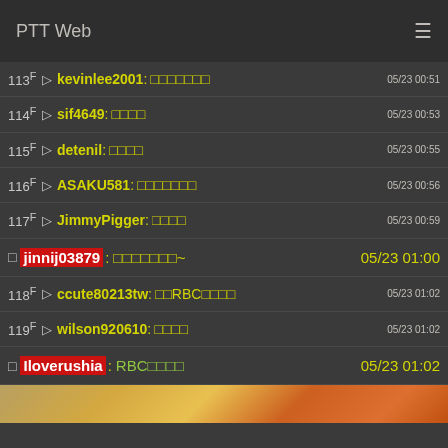PTT Web
113F → kevinlee2001: □□□□□□□  05/23 00:51
114F → sif4649: □□□□  05/23 00:53
115F → detenil: □□□□  05/23 00:55
116F → ASAKU581: □□□□□□□  05/23 00:56
117F → JimmyPigger: □□□□  05/23 00:59
□ jinnij03879: □□□□□□□~  05/23 01:00
118F → ccute80213tw: □□RBC□□□□  05/23 01:02
119F → wilson920610: □□□□  05/23 01:02
□ Iloverushia: RBC□□□□  05/23 01:02
[Figure (photo): Partial image visible at bottom of page, appears to be food or fruit with orange/yellow colors]